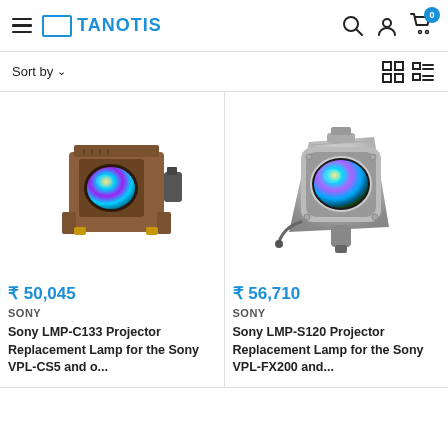TANOTIS
Sort by
[Figure (photo): Projector replacement lamp LMP-C133, brown/tan housing with reflector lens]
₹ 50,045
SONY
Sony LMP-C133 Projector Replacement Lamp for the Sony VPL-CS5 and o...
[Figure (photo): Projector replacement lamp LMP-S120, silver/grey bare bulb with reflector]
₹ 56,710
SONY
Sony LMP-S120 Projector Replacement Lamp for the Sony VPL-FX200 and...